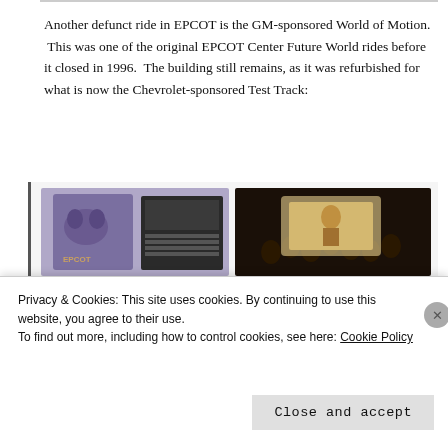Another defunct ride in EPCOT is the GM-sponsored World of Motion. This was one of the original EPCOT Center Future World rides before it closed in 1996. The building still remains, as it was refurbished for what is now the Chevrolet-sponsored Test Track:
[Figure (photo): Collage of World of Motion ride images including technology displays, scenes with historical figures, and the World of Motion logo (blue swoosh arcs with bold text 'WORLD OF MOTION')]
Privacy & Cookies: This site uses cookies. By continuing to use this website, you agree to their use.
To find out more, including how to control cookies, see here: Cookie Policy